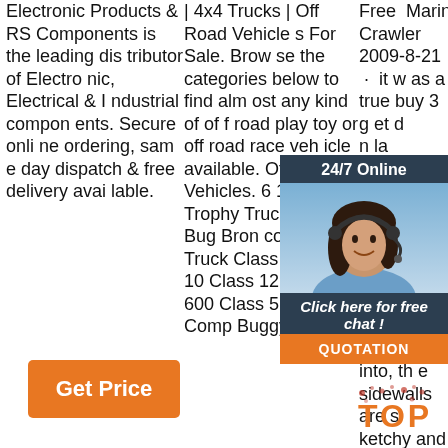Electronic Products & RS Components is the leading distributor of Electronic, Electrical & Industrial components. Secure online ordering, same day dispatch & free delivery available.
| 4x4 Trucks | Free  Off Road Vehicles For Sale. Browse the categories below to find almost any kind of off road play toy or off road race vehicle available. Off Road Vehicles. 6100 Trophy Truck Baja Bug Bronco Chase Truck Class 1 Class 10 Class 12 Class 1 600 Class 5 Class 9 Comp Buggy
Marin Crawler 2009-8-21 · it was a true buy 3 get d... n la han ls to ree it ba d pp er ti had to pay the difference. into, the sidewalls are sketchy and i've see my share with
[Figure (other): Customer service overlay with '24/7 Online' header, photo of woman with headset, 'Click here for free chat!' text, and orange QUOTATION button]
[Figure (other): Orange TOP badge/watermark in bottom right corner]
Get Price